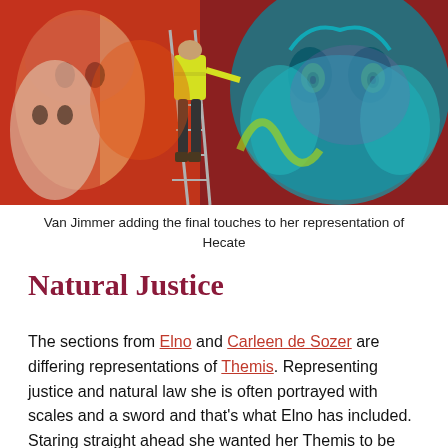[Figure (photo): A person in a high-visibility yellow vest stands on a ladder painting a large colorful mural on a brick wall featuring a face and a large teal/blue animal (resembling a bear or similar creature) with green eyes, surrounded by vivid red and other colors.]
Van Jimmer adding the final touches to her representation of Hecate
Natural Justice
The sections from Elno and Carleen de Sozer are differing representations of Themis. Representing justice and natural law she is often portrayed with scales and a sword and that's what Elno has included. Staring straight ahead she wanted her Themis to be looking deeply into the eyes of